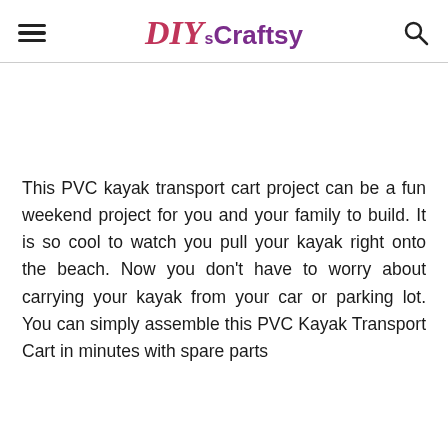DIYs Craftsy
This PVC kayak transport cart project can be a fun weekend project for you and your family to build. It is so cool to watch you pull your kayak right onto the beach. Now you don't have to worry about carrying your kayak from your car or parking lot. You can simply assemble this PVC Kayak Transport Cart in minutes with spare parts